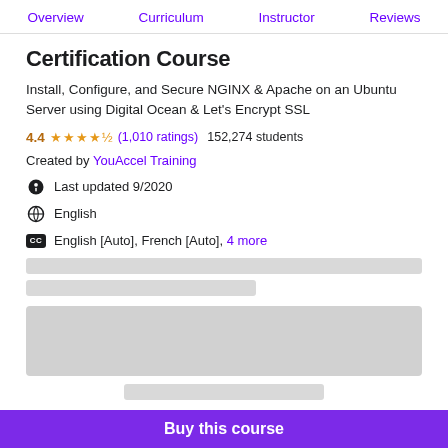Overview  Curriculum  Instructor  Reviews
Certification Course
Install, Configure, and Secure NGINX & Apache on an Ubuntu Server using Digital Ocean & Let's Encrypt SSL
4.4 ★★★★½ (1,010 ratings)  152,274 students
Created by YouAccel Training
Last updated 9/2020
English
English [Auto], French [Auto], 4 more